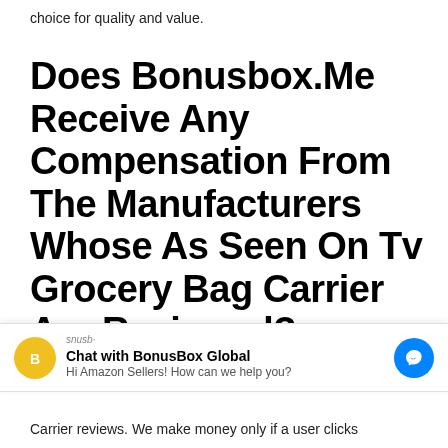choice for quality and value.
Does Bonusbox.Me Receive Any Compensation From The Manufacturers Whose As Seen On Tv Grocery Bag Carrier Are Reviewed?
No. To remain objective, Bonusbox.me does not accept any
[Figure (screenshot): Chat widget overlay showing 'Chat with BonusBox Global' with a yellow hexagon B icon, brand label 'snusb-', subtitle 'Hi Amazon Sellers! How can we help you?' and a blue Facebook Messenger button on the right.]
Carrier reviews. We make money only if a user clicks